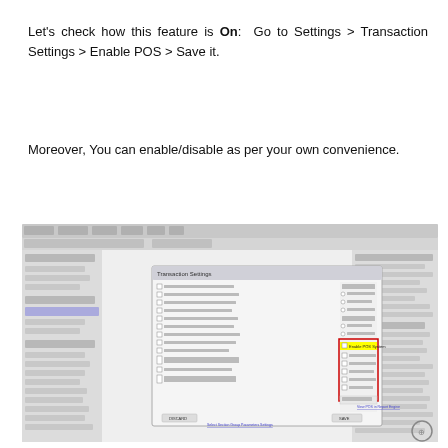Let's check how this feature is On: Go to Settings > Transaction Settings > Enable POS > Save it.
Moreover, You can enable/disable as per your own convenience.
[Figure (screenshot): Screenshot of a point-of-sale software interface showing Transaction Settings dialog with 'Enable POS System' option highlighted in yellow, surrounded by a red rectangle. The main application window shows menus, accounts sidebar, and transaction list.]